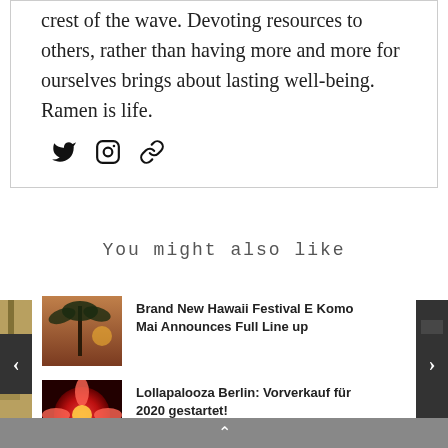crest of the wave. Devoting resources to others, rather than having more and more for ourselves brings about lasting well-being. Ramen is life.
[Figure (other): Social media icons: Twitter bird, Instagram camera, and a link/chain icon]
You might also like
[Figure (photo): Thumbnail image of a palm tree silhouette at sunset with warm colors]
Brand New Hawaii Festival E Komo Mai Announces Full Line up
[Figure (photo): Thumbnail image of a red flower close-up]
Lollapalooza Berlin: Vorverkauf für 2020 gestartet!
[Figure (photo): Side preview image on left edge showing a person]
[Figure (photo): Side preview image on right edge in dark tones]
^